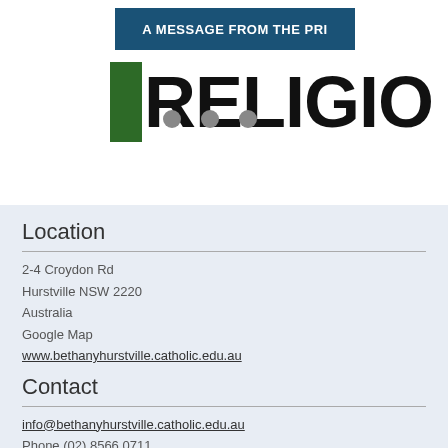[Figure (logo): Banner with 'A MESSAGE FROM THE PRI' text in blue rectangle, and large 'RELIGIO' logo text with green book icon and grey dots]
Location
2-4 Croydon Rd
Hurstville NSW 2220
Australia
Google Map
www.bethanyhurstville.catholic.edu.au
Contact
info@bethanyhurstville.catholic.edu.au
Phone (02) 8566 0711
Fax (02) 8566 0722
ABSENCE LINE (02) 8566 0711
WET WEATHER (02) 8566 0711
Subscribe to eNews
enews@bethanyhurstville.catholic.edu.au